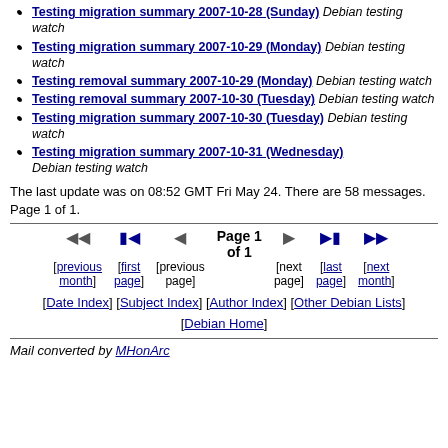Testing migration summary 2007-10-28 (Sunday) Debian testing watch
Testing migration summary 2007-10-29 (Monday) Debian testing watch
Testing removal summary 2007-10-29 (Monday) Debian testing watch
Testing removal summary 2007-10-30 (Tuesday) Debian testing watch
Testing migration summary 2007-10-30 (Tuesday) Debian testing watch
Testing migration summary 2007-10-31 (Wednesday) Debian testing watch
The last update was on 08:52 GMT Fri May 24. There are 58 messages. Page 1 of 1.
[Figure (other): Navigation controls: previous month, first page, previous page, Page 1 of 1, next page, last page, next month]
[Date Index] [Subject Index] [Author Index] [Other Debian Lists] [Debian Home]
Mail converted by MHonArc